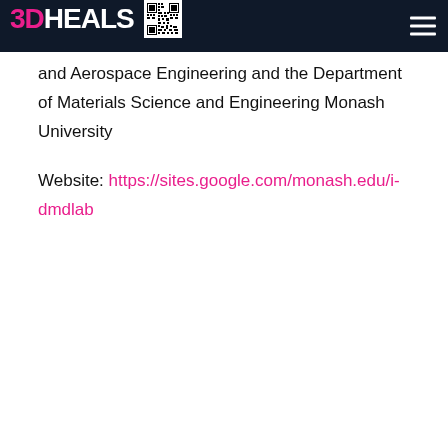3DHEALS [logo with QR code and hamburger menu]
and Aerospace Engineering and the Department of Materials Science and Engineering Monash University
Website: https://sites.google.com/monash.edu/i-dmdlab